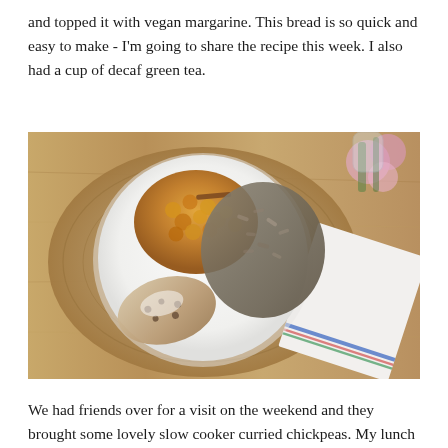and topped it with vegan margarine. This bread is so quick and easy to make - I'm going to share the recipe this week. I also had a cup of decaf green tea.
[Figure (photo): Overhead shot of a white plate on a woven placemat on a wood table, with roasted chickpeas, lentils and rice, and a slice of soda bread topped with margarine. A folded striped napkin and pink flowers in a glass vase are visible in the upper right corner.]
We had friends over for a visit on the weekend and they brought some lovely slow cooker curried chickpeas. My lunch on the day I'm featuring was leftover chickpeas with lentils and rice and another slice of soda